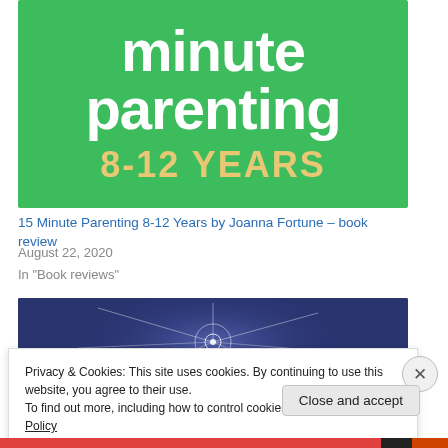[Figure (illustration): Book cover for '15 Minute Parenting 8-12 Years' — green background with large white text reading 'minute parenting' and gold text '8-12 YEARS']
15 Minute Parenting 8-12 Years by Joanna Fortune – book review
August 22, 2020
In "Book reviews"
[Figure (illustration): Dark blue/navy abstract background with white swirling light lines]
Privacy & Cookies: This site uses cookies. By continuing to use this website, you agree to their use.
To find out more, including how to control cookies, see here: Cookie Policy